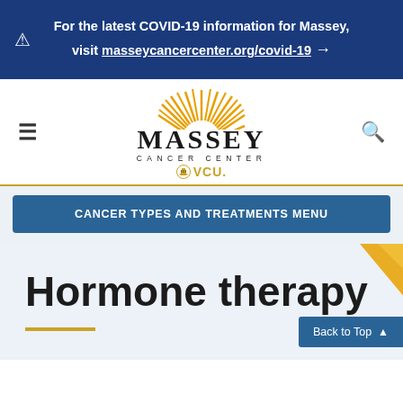For the latest COVID-19 information for Massey, visit masseycancercenter.org/covid-19
[Figure (logo): Massey Cancer Center VCU logo with sunburst graphic]
CANCER TYPES AND TREATMENTS MENU
Hormone therapy